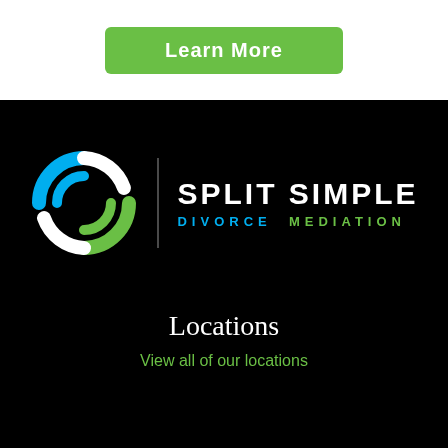Learn More
[Figure (logo): Split Simple Divorce Mediation logo with stylized S made of blue, white, and green arc segments, followed by a vertical divider line and the text SPLIT SIMPLE in white and DIVORCE MEDIATION in blue and green]
Locations
View all of our locations